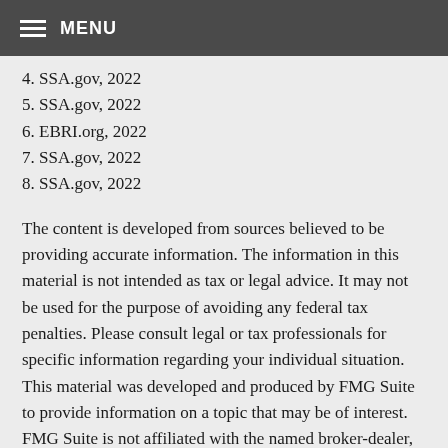MENU
4. SSA.gov, 2022
5. SSA.gov, 2022
6. EBRI.org, 2022
7. SSA.gov, 2022
8. SSA.gov, 2022
The content is developed from sources believed to be providing accurate information. The information in this material is not intended as tax or legal advice. It may not be used for the purpose of avoiding any federal tax penalties. Please consult legal or tax professionals for specific information regarding your individual situation. This material was developed and produced by FMG Suite to provide information on a topic that may be of interest. FMG Suite is not affiliated with the named broker-dealer, state- or SEC-registered investment